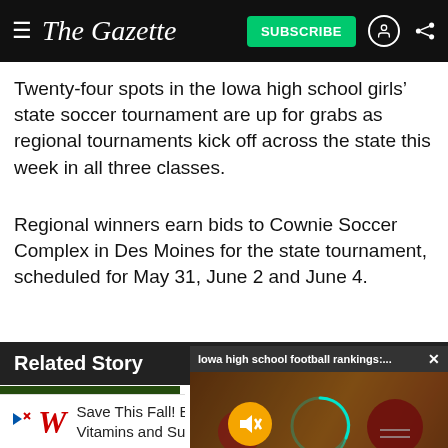The Gazette — SUBSCRIBE
Twenty-four spots in the Iowa high school girls' state soccer tournament are up for grabs as regional tournaments kick off across the state this week in all three classes.
Regional winners earn bids to Cownie Soccer Complex in Des Moines for the state tournament, scheduled for May 31, June 2 and June 4.
Related Story
[Figure (photo): Football team huddle with coach, players in green and yellow uniforms]
Ch... fo...
[Figure (screenshot): Iowa high school football rankings video overlay with mute button and loading ring, text: IOWA HIGH SCHOOL FOOTBALL]
[Figure (other): Walgreens advertisement: Save This Fall! BOGO Free Vitamins and Supplements]